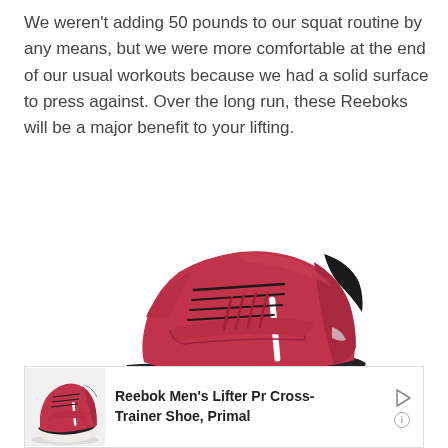We weren't adding 50 pounds to our squat routine by any means, but we were more comfortable at the end of our usual workouts because we had a solid surface to press against. Over the long run, these Reeboks will be a major benefit to your lifting.
[Figure (photo): Red Reebok weightlifting/cross-trainer shoe with velcro strap, laces, white sole, photographed from the side on white background]
[Figure (photo): Advertisement bar showing a small red Reebok shoe thumbnail on the left, bold text reading 'Reebok Men's Lifter Pr Cross-Trainer Shoe, Primal' in the center, and a play/info icon on the right]